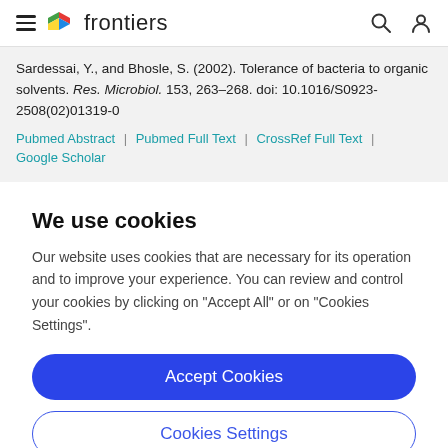frontiers
Sardessai, Y., and Bhosle, S. (2002). Tolerance of bacteria to organic solvents. Res. Microbiol. 153, 263–268. doi: 10.1016/S0923-2508(02)01319-0
Pubmed Abstract | Pubmed Full Text | CrossRef Full Text | Google Scholar
We use cookies
Our website uses cookies that are necessary for its operation and to improve your experience. You can review and control your cookies by clicking on "Accept All" or on "Cookies Settings".
Accept Cookies
Cookies Settings